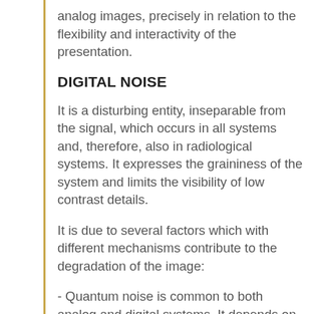analog images, precisely in relation to the flexibility and interactivity of the presentation.
DIGITAL NOISE
It is a disturbing entity, inseparable from the signal, which occurs in all systems and, therefore, also in radiological systems. It expresses the graininess of the system and limits the visibility of low contrast details.
It is due to several factors which with different mechanisms contribute to the degradation of the image:
- Quantum noise is common to both analog and digital systems. It depends on the mechanisms of production of radiation at